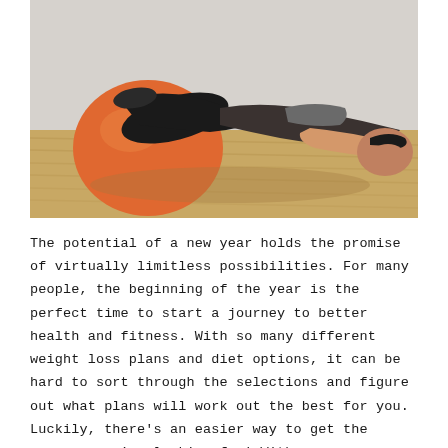[Figure (photo): A plus-size woman in black workout clothes doing a plank exercise with her legs resting on a large orange exercise ball, on a hardwood floor in a gym setting.]
The potential of a new year holds the promise of virtually limitless possibilities. For many people, the beginning of the year is the perfect time to start a journey to better health and fitness. With so many different weight loss plans and diet options, it can be hard to sort through the selections and figure out what plans will work out the best for you. Luckily, there's an easier way to get the answers you're looking for! With a